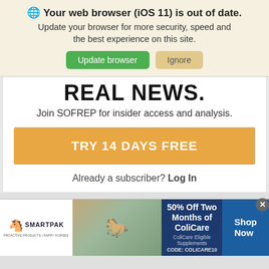Your web browser (iOS 11) is out of date. Update your browser for more security, speed and the best experience on this site.
Update browser | Ignore
REAL NEWS.
Join SOFREP for insider access and analysis.
TRY 14 DAYS FREE
Already a subscriber? Log In
[Figure (infographic): SmartPak advertisement banner: SmartPak logo on left, product/horse image in center, '50% Off Two Months of ColiCare, ColiCare Eligible Supplements, CODE: COLICARE10' text on dark blue background, 'Shop Now' button on right, with close X button.]